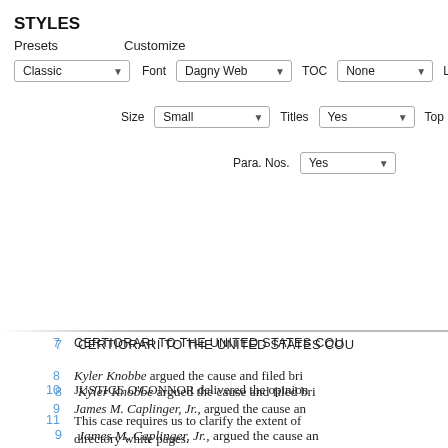STYLES
Presets   Customize
Classic (dropdown)   Font: Dagny Web (dropdown)   TOC: None (dropdown)   Left: 1.0in
Size: Small (dropdown)   Titles: Yes (dropdown)   Top: 1.0in
Para. Nos.: Yes (dropdown)
7   CERTIORARI TO THE UNITED STATES COU
8   Kyler Knobbe argued the cause and filed bri
9   James M. Caplinger, Jr., argued the cause an
10   JUSTICE O'CONNOR delivered the opinion
11   This case requires us to clarify the extent of ... directory white pages.